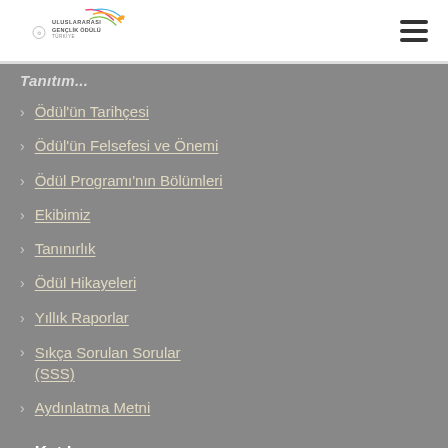Uluslararası Gençlik Ödülü Türkiye (logo)
Tanıtım (partial)
Ödül'ün Tarihçesi
Ödül'ün Felsefesi ve Önemi
Ödül Programı'nın Bölümleri
Ekibimiz
Tanınırlık
Ödül Hikayeleri
Yıllık Raporlar
Sıkça Sorulan Sorular (SSS)
Aydınlatma Metni
Katılın
Nasıl Başlanır
Uluslararası Gençlik Ödülü-Türkiye Mezunlar Grubu